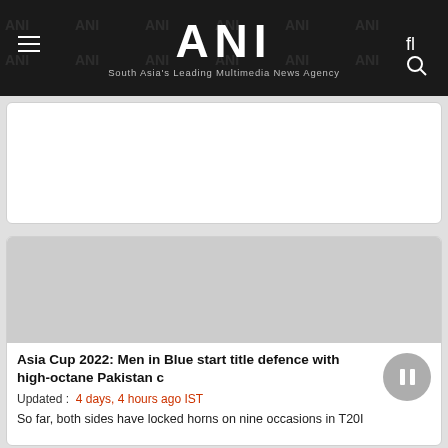ANI — South Asia's Leading Multimedia News Agency
[Figure (other): Advertisement placeholder card (white box)]
[Figure (photo): Article card image placeholder (grey box) for Asia Cup 2022 article]
Asia Cup 2022: Men in Blue start title defence with high-octane Pakistan c
Updated :  4 days, 4 hours ago IST
So far, both sides have locked horns on nine occasions in T20I